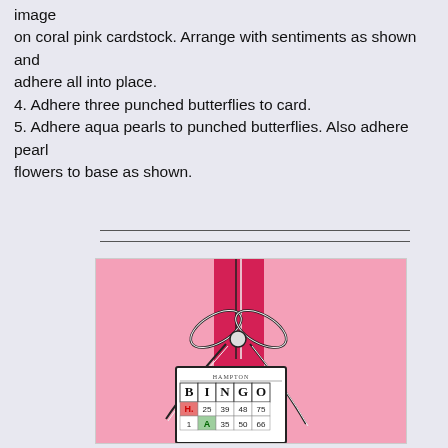image
on coral pink cardstock. Arrange with sentiments as shown and
adhere all into place.
4. Adhere three punched butterflies to card.
5. Adhere aqua pearls to punched butterflies. Also adhere pearl
flowers to base as shown.
[Figure (photo): A pink greeting card with a red vertical stripe and black-and-white baker's twine bow, along with a bingo card tag attached at the bottom showing BINGO letters and numbers including 25, 39, 48, 75, 1, 35, 50, 66.]